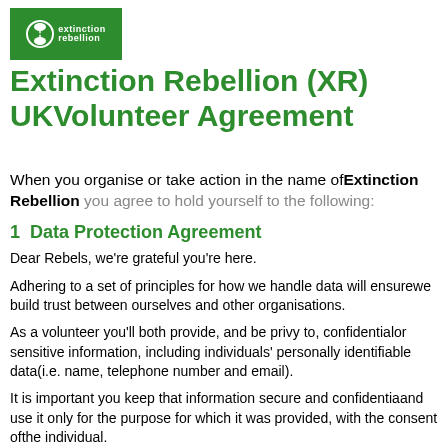[Figure (logo): Extinction Rebellion logo — green background with hourglass circle icon and text 'extinction rebellion']
Extinction Rebellion (XR) UKVolunteer Agreement
When you organise or take action in the name ofExtinction Rebellion you agree to hold yourself to the following:
1  Data Protection Agreement
Dear Rebels, we're grateful you're here.
Adhering to a set of principles for how we handle data will ensurewe build trust between ourselves and other organisations.
As a volunteer you'll both provide, and be privy to, confidentialor sensitive information, including individuals' personally identifiable data(i.e. name, telephone number and email).
It is important you keep that information secure and confidentiaand use it only for the purpose for which it was provided, with the consent ofthe individual.
As Rebels, we need to treat our Data the way we do